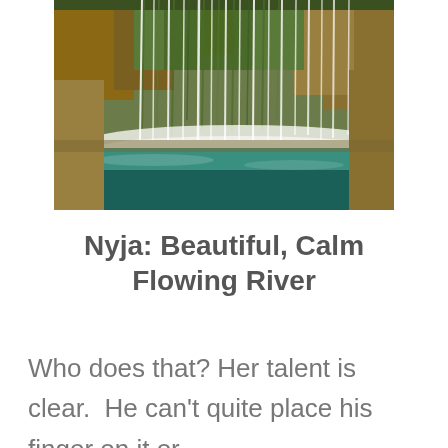[Figure (photo): A scenic waterfall cascading down a moss-covered rocky cliff into a turquoise green pool below, with lush green vegetation and long white water streams.]
Nyja: Beautiful, Calm Flowing River
Who does that? Her talent is clear.  He can't quite place his finger on it or